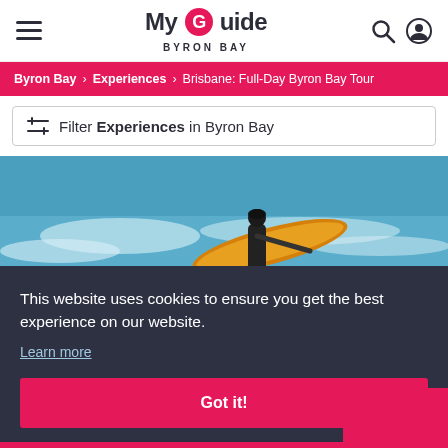My Guide Byron Bay — navigation header with hamburger menu, logo, search and user icons
Byron Bay > Experiences > Brisbane: Full-Day Byron Bay Tour
Filter Experiences in Byron Bay
[Figure (photo): Person carrying a yellow surfboard walking into ocean waves at Byron Bay beach]
This website uses cookies to ensure you get the best experience on our website. Learn more
Got it!